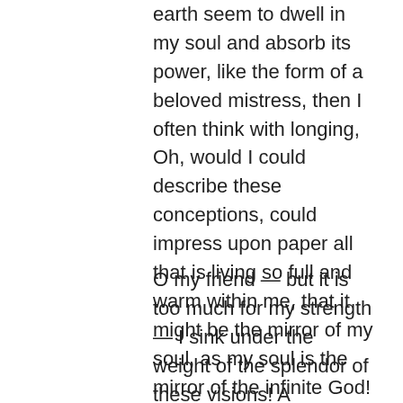earth seem to dwell in my soul and absorb its power, like the form of a beloved mistress, then I often think with longing, Oh, would I could describe these conceptions, could impress upon paper all that is living so full and warm within me, that it might be the mirror of my soul, as my soul is the mirror of the infinite God!
O my friend — but it is too much for my strength — I sink under the weight of the splendor of these visions! A wonderful serenity has taken possession of my entire soul, like these sweet mornings of spring which I enjoy with my whole heart. I am alone, and feel the charm of existence in this spot